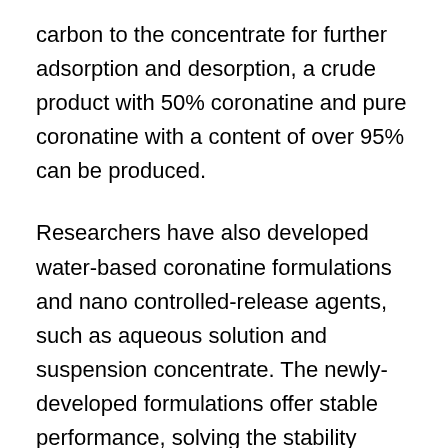carbon to the concentrate for further adsorption and desorption, a crude product with 50% coronatine and pure coronatine with a content of over 95% can be produced.
Researchers have also developed water-based coronatine formulations and nano controlled-release agents, such as aqueous solution and suspension concentrate. The newly-developed formulations offer stable performance, solving the stability issues affecting biological regulators. Researchers also recently found out that coronatine can improve crops resistance to biological stresses, such as salt, drought, temperature extremes and diseases, and can prolong the growth of cotton and promote defoliation and